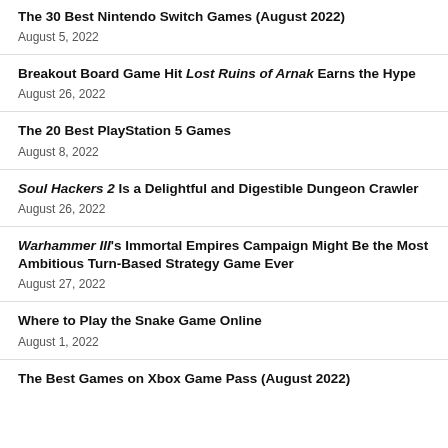The 30 Best Nintendo Switch Games (August 2022)
August 5, 2022
Breakout Board Game Hit Lost Ruins of Arnak Earns the Hype
August 26, 2022
The 20 Best PlayStation 5 Games
August 8, 2022
Soul Hackers 2 Is a Delightful and Digestible Dungeon Crawler
August 26, 2022
Warhammer III's Immortal Empires Campaign Might Be the Most Ambitious Turn-Based Strategy Game Ever
August 27, 2022
Where to Play the Snake Game Online
August 1, 2022
The Best Games on Xbox Game Pass (August 2022)